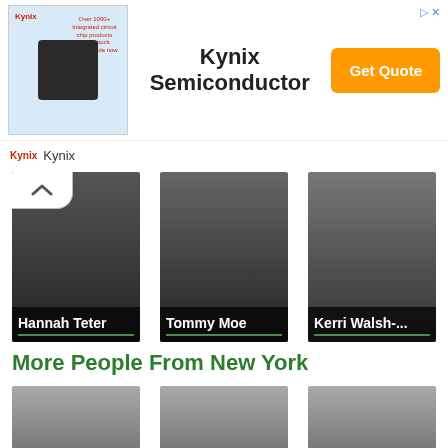[Figure (screenshot): Kynix Semiconductor advertisement banner with chip image, company name, and Get Quote button]
[Figure (photo): Hannah Teter person card with dark gradient background]
[Figure (photo): Tommy Moe person card with dark gradient background]
[Figure (photo): Kerri Walsh- person card with dark gradient background]
More People From New York
[Figure (photo): Rufus Wain... person card with gradient background]
[Figure (photo): Red Buttons person card with gradient background]
[Figure (photo): Jane Fonda person card with gradient background]
[Figure (photo): Three partially visible person cards at bottom]
[Figure (photo): Three partially visible person cards at bottom]
[Figure (photo): Three partially visible person cards at bottom]